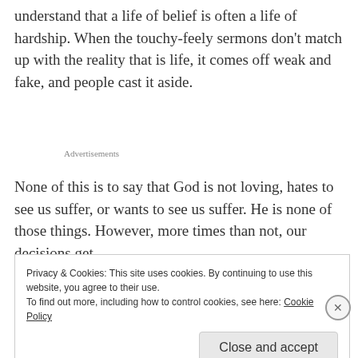understand that a life of belief is often a life of hardship. When the touchy-feely sermons don't match up with the reality that is life, it comes off weak and fake, and people cast it aside.
Advertisements
None of this is to say that God is not loving, hates to see us suffer, or wants to see us suffer. He is none of those things. However, more times than not, our decisions get
Privacy & Cookies: This site uses cookies. By continuing to use this website, you agree to their use.
To find out more, including how to control cookies, see here: Cookie Policy
Close and accept